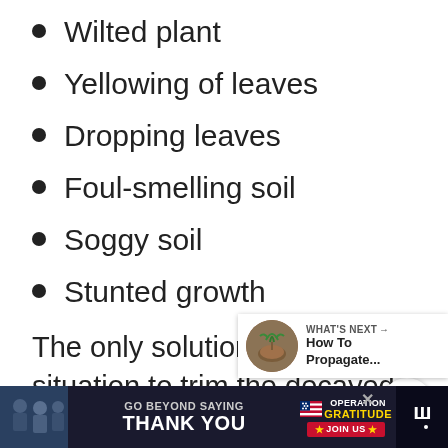Wilted plant
Yellowing of leaves
Dropping leaves
Foul-smelling soil
Soggy soil
Stunted growth
The only solution to a root rot situation to trim the decayed roots, repot the plant in fresh soil, and water only when required.
[Figure (screenshot): UI overlay with heart/like button (green circle), share count showing 1, and share icon button]
[Figure (screenshot): What's Next widget showing thumbnail of plant pot with text 'WHAT'S NEXT → How To Propagate...']
[Figure (screenshot): Advertisement banner: 'GO BEYOND SAYING THANK YOU' with Operation Gratitude logo and JOIN US button, plus website logo on right]